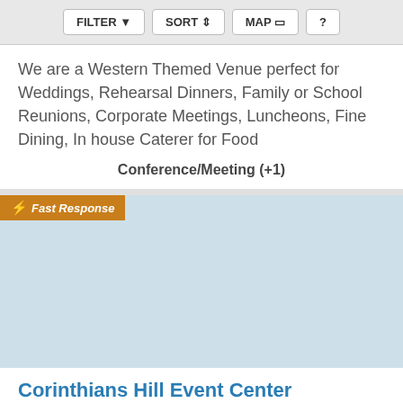FILTER  SORT  MAP  ?
We are a Western Themed Venue perfect for Weddings, Rehearsal Dinners, Family or School Reunions, Corporate Meetings, Luncheons, Fine Dining, In house Caterer for Food
Conference/Meeting (+1)
[Figure (photo): Light blue placeholder image for a venue listing with a Fast Response badge in the top-left corner]
Corinthians Hill Event Center
113 miles from Douglass, KS